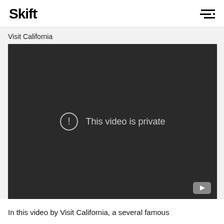Skift
Visit California
[Figure (screenshot): Embedded YouTube video player showing 'This video is private' error message with exclamation circle icon and YouTube logo in bottom right corner. The video area has a dark background (#2a2a2a).]
In this video by Visit California, several famous